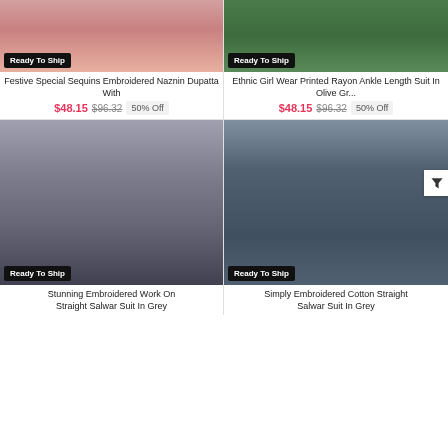[Figure (photo): Cropped bottom of Indian ethnic wear with pink/coral dupatta - Ready To Ship badge]
Festive Special Sequins Embroidered Naznin Dupatta With
$48.15 $96.32 50% Off
[Figure (photo): Cropped bottom of Indian ethnic olive green suit with feet visible - Ready To Ship badge]
Ethnic Girl Wear Printed Rayon Ankle Length Suit In Olive Gr...
$48.15 $96.32 50% Off
[Figure (photo): Woman in grey embroidered salwar suit with blue floral dupatta - Ready To Ship badge]
Stunning Embroidered Work On Straight Salwar Suit In Grey
[Figure (photo): Woman in dark grey striped straight salwar suit with pink dupatta - Ready To Ship badge]
Simply Embroidered Cotton Straight Salwar Suit In Grey